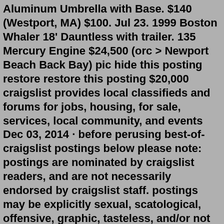Aluminum Umbrella with Base. $140 (Westport, MA) $100. Jul 23. 1999 Boston Whaler 18' Dauntless with trailer. 135 Mercury Engine $24,500 (orc > Newport Beach Back Bay) pic hide this posting restore restore this posting $20,000 craigslist provides local classifieds and forums for jobs, housing, for sale, services, local community, and events Dec 03, 2014 · before perusing best-of-craigslist postings below please note: postings are nominated by craigslist readers, and are not necessarily endorsed by craigslist staff. postings may be explicitly sexual, scatological, offensive, graphic, tasteless, and/or not funny. if you are under age 18, please use your 'back' button and seek parental guidance. craigslist provides local classifieds and forums for jobs, housing, for sale, services, local community, and events Oster - 5.0 Cu. Ft. Compact Refrigerator - Silver with microwave. $300 (New Bedford) $4,850. Jul 25. 1.90 ctw. Round Cut Brilliant Diamond Ring. $4,850. Jul 25.2015 Toyota Tacoma 4dr Access Cab SR5 4x4 2.7L Auto 138K Silver $20950. $20,950 (Derry NH) $18,995. Jul